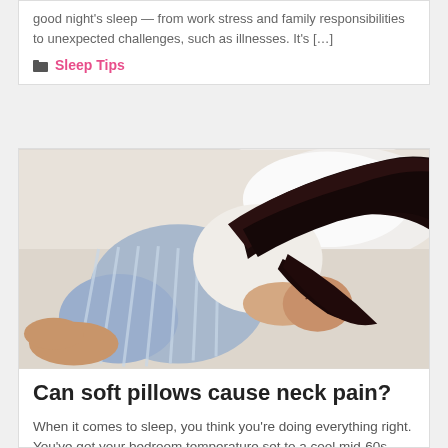good night's sleep — from work stress and family responsibilities to unexpected challenges, such as illnesses. It's […]
Sleep Tips
[Figure (photo): A dark-haired woman sleeping curled up on a bed with white bedding, wearing blue striped pajama pants and a white tank top, viewed from above.]
Can soft pillows cause neck pain?
When it comes to sleep, you think you're doing everything right. You've got your bedroom temperature set to a cool mid-60s degrees Fahrenheit. You've got a comfortable, high-quality mattress that's in great shape. And you've got a rock solid bedtime routine. But you're still